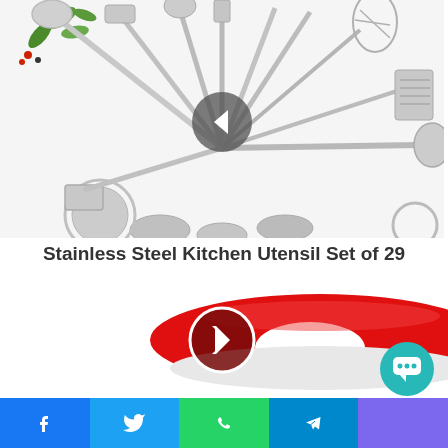[Figure (photo): Stainless steel kitchen utensil set of 29 arranged in a fan/circle pattern on white background, with a left navigation arrow in center]
Stainless Steel Kitchen Utensil Set of 29
[Figure (photo): Close-up of a red electric can opener on white background, with a right navigation arrow in center]
[Figure (other): Social share bar with Facebook, Twitter, WhatsApp, Telegram, and an additional purple button]